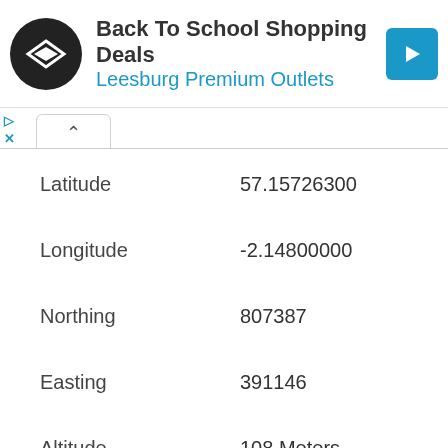[Figure (other): Advertisement banner: Back To School Shopping Deals at Leesburg Premium Outlets with logo and arrow icon]
| Field | Value |
| --- | --- |
| Latitude | 57.15726300 |
| Longitude | -2.14800000 |
| Northing | 807387 |
| Easting | 391146 |
| Altitude | 108 Meters |
| Postcode Area | AB |
| Postcode District | AB16 |